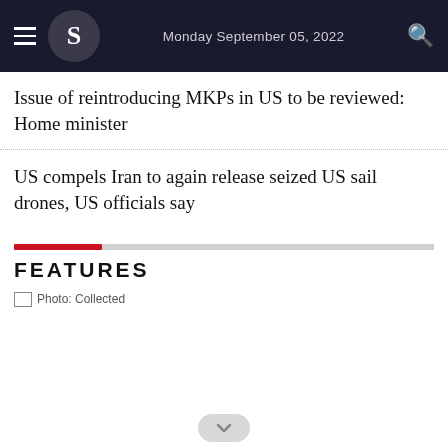Monday September 05, 2022
Issue of reintroducing MKPs in US to be reviewed: Home minister
US compels Iran to again release seized US sail drones, US officials say
FEATURES
Photo: Collected